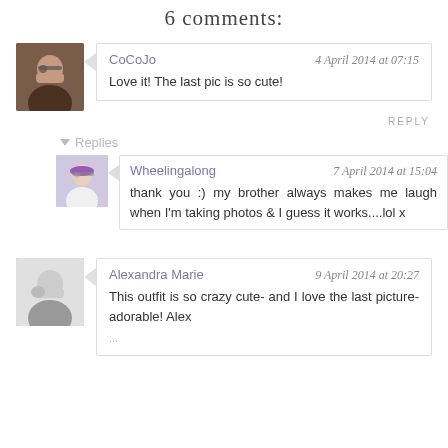6 comments:
CoCoJo
4 April 2014 at 07:15
Love it! The last pic is so cute!
REPLY
Replies
Wheelingalong
7 April 2014 at 15:04
thank you :) my brother always makes me laugh when I'm taking photos & I guess it works....lol x
Alexandra Marie
9 April 2014 at 20:27
This outfit is so crazy cute- and I love the last picture- adorable! Alex